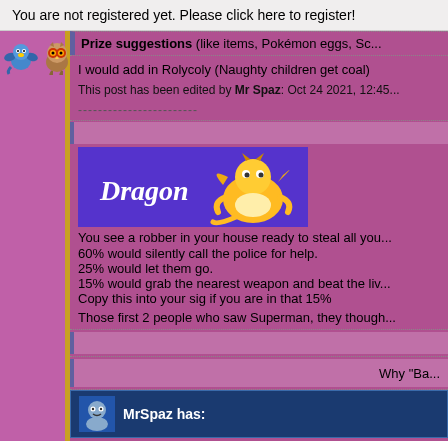You are not registered yet. Please click here to register!
Prize suggestions (like items, Pokémon eggs, Sc...
I would add in Rolycoly (Naughty children get coal)
This post has been edited by Mr Spaz: Oct 24 2021, 12:45...
------------------------
[Figure (illustration): Blue banner with Dragon text and Dragonite Pokémon sprite]
You see a robber in your house ready to steal all you...
60% would silently call the police for help.
25% would let them go.
15% would grab the nearest weapon and beat the liv...
Copy this into your sig if you are in that 15%
Those first 2 people who saw Superman, they though...
Why "Ba...
[Figure (illustration): MrSpaz has: user card with avatar and stats on blue background]